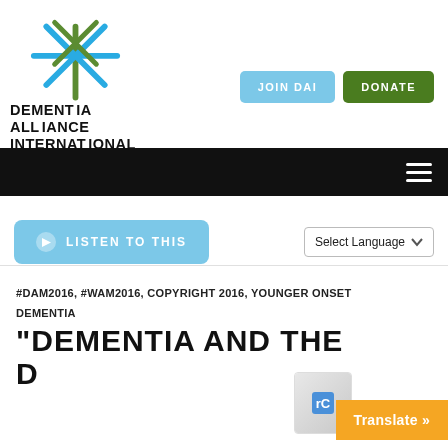[Figure (logo): Dementia Alliance International logo with snowflake/asterisk star shape in blue and green above the text 'DEMENTIA ALLIANCE INTERNATIONAL']
[Figure (screenshot): JOIN DAI button (light blue) and DONATE button (green)]
[Figure (screenshot): Black navigation bar with hamburger menu icon (three white horizontal lines) on the right]
[Figure (screenshot): LISTEN TO THIS button (light blue) with speaker icon on left]
[Figure (screenshot): Select Language dropdown]
#DAM2016, #WAM2016, COPYRIGHT 2016, YOUNGER ONSET DEMENTIA
"DEMENTIA AND THE D...